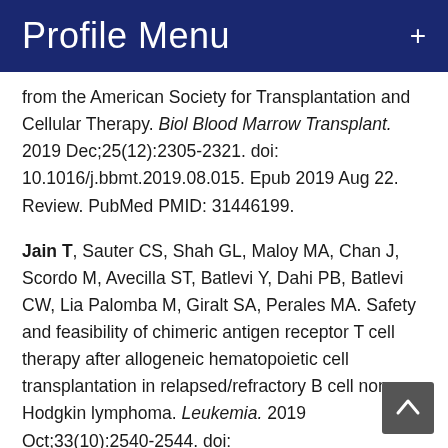Profile Menu
from the American Society for Transplantation and Cellular Therapy. Biol Blood Marrow Transplant. 2019 Dec;25(12):2305-2321. doi: 10.1016/j.bbmt.2019.08.015. Epub 2019 Aug 22. Review. PubMed PMID: 31446199.
Jain T, Sauter CS, Shah GL, Maloy MA, Chan J, Scordo M, Avecilla ST, Batlevi Y, Dahi PB, Batlevi CW, Lia Palomba M, Giralt SA, Perales MA. Safety and feasibility of chimeric antigen receptor T cell therapy after allogeneic hematopoietic cell transplantation in relapsed/refractory B cell non-Hodgkin lymphoma. Leukemia. 2019 Oct;33(10):2540-2544. doi: